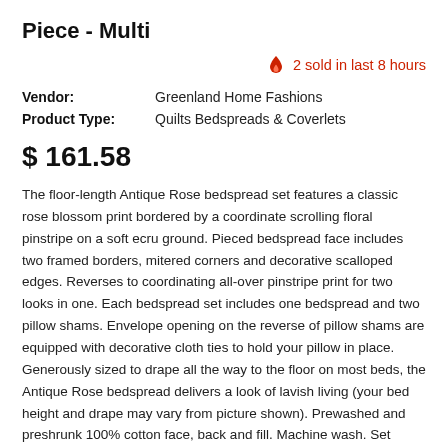Piece - Multi
2 sold in last 8 hours
| Label | Value |
| --- | --- |
| Vendor: | Greenland Home Fashions |
| Product Type: | Quilts Bedspreads & Coverlets |
$ 161.58
The floor-length Antique Rose bedspread set features a classic rose blossom print bordered by a coordinate scrolling floral pinstripe on a soft ecru ground. Pieced bedspread face includes two framed borders, mitered corners and decorative scalloped edges. Reverses to coordinating all-over pinstripe print for two looks in one. Each bedspread set includes one bedspread and two pillow shams. Envelope opening on the reverse of pillow shams are equipped with decorative cloth ties to hold your pillow in place. Generously sized to drape all the way to the floor on most beds, the Antique Rose bedspread delivers a look of lavish living (your bed height and drape may vary from picture shown). Prewashed and preshrunk 100% cotton face, back and fill. Machine wash. Set includes: Bedspread and two